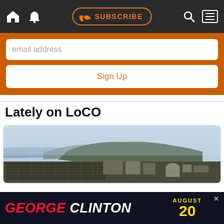Navigation bar with home, bell, SUBSCRIBE, search, and menu icons
[Figure (screenshot): Email signup form with orange background, email address input field and Sign Up button]
Lately on LoCO
[Figure (photo): Aerial coastal landscape photo showing an industrial area near the ocean with hills in the background under a hazy sky]
[Figure (other): Advertisement banner: GEORGE CLINTON AUGUST 20 in red, white and yellow text on dark background]